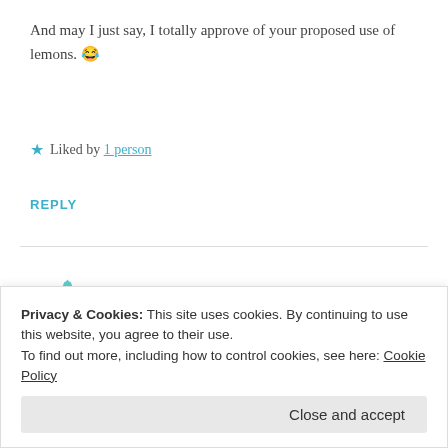And may I just say, I totally approve of your proposed use of lemons. 😂
★ Liked by 1 person
REPLY
[Figure (illustration): Teal/mint colored geometric snowflake-like avatar icon for user Nancy]
Nancy
JULY 13, 2018 AT 6:50 PM
Privacy & Cookies: This site uses cookies. By continuing to use this website, you agree to their use. To find out more, including how to control cookies, see here: Cookie Policy
Close and accept